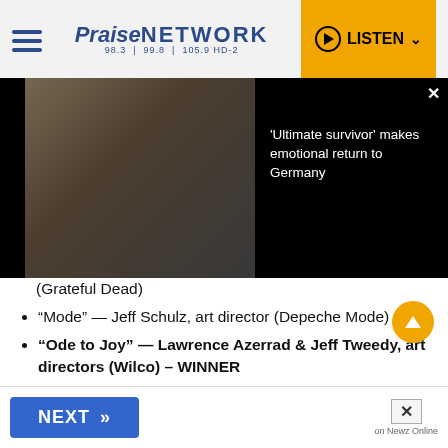Praise NETWORK 98.3 | 99.8 | 105.9 HD-2 | LISTEN
[Figure (screenshot): Video thumbnail of a person in military uniform with text overlay reading: 'Ultimate survivor' makes emotional return to Germany]
'Ultimate survivor' makes emotional return to Germany
(Grateful Dead)
“Mode” — Jeff Schulz, art director (Depeche Mode)
“Ode to Joy” — Lawrence Azerrad & Jeff Tweedy, art directors (Wilco) – WINNER
“The Story of Ghostly International” — Michael Cina & Molly Smith, art directors (Various Artists)